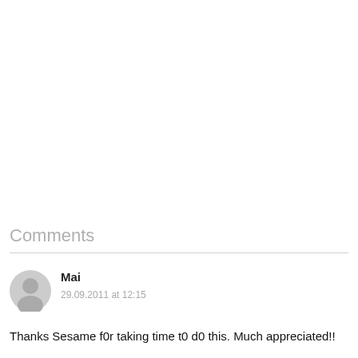Comments
[Figure (illustration): Generic user avatar icon — circular grey silhouette of a person]
Mai
29.09.2011 at 12:15
Thanks Sesame f0r taking time t0 d0 this. Much appreciated!!